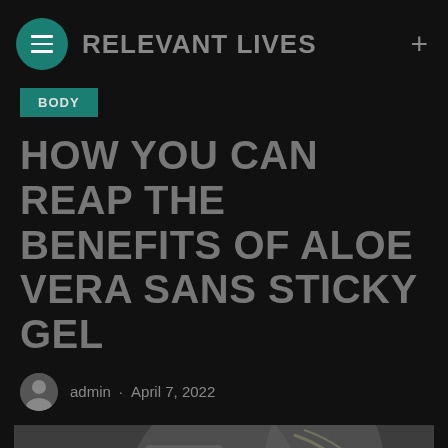RELEVANT LIVES
BODY
HOW YOU CAN REAP THE BENEFITS OF ALOE VERA SANS STICKY GEL
admin · April 7, 2022
[Figure (photo): Product image related to aloe vera, partially visible at bottom of page]